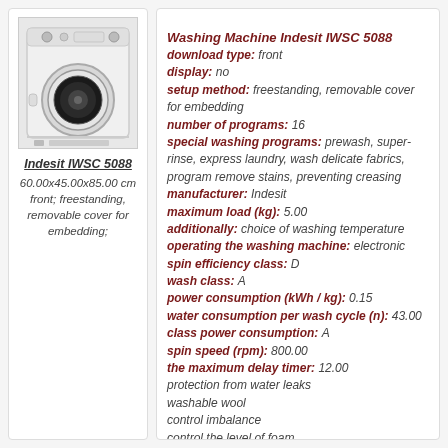[Figure (photo): Photo of white front-loading Indesit IWSC 5088 washing machine]
Indesit IWSC 5088
60.00x45.00x85.00 cm
front; freestanding, removable cover for embedding;
Washing Machine Indesit IWSC 5088
download type: front
display: no
setup method: freestanding, removable cover for embedding
number of programs: 16
special washing programs: prewash, super-rinse, express laundry, wash delicate fabrics, program remove stains, preventing creasing
manufacturer: Indesit
maximum load (kg): 5.00
additionally: choice of washing temperature
operating the washing machine: electronic
spin efficiency class: D
wash class: A
power consumption (kWh / kg): 0.15
water consumption per wash cycle (n): 43.00
class power consumption: A
spin speed (rpm): 800.00
the maximum delay timer: 12.00
protection from water leaks
washable wool
control imbalance
control the level of foam
timer
width (cm): 60.00
depth (cm): 45.00
height (cm): 85.00
color washing machine: white
tank material: plastic